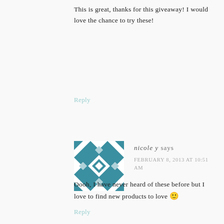This is great, thanks for this giveaway! I would love the chance to try these!
Reply
[Figure (illustration): Geometric quilt-pattern avatar in teal and white, square with diamond and triangle shapes]
nicole y says
FEBRUARY 8, 2013 AT 10:51 AM
Oooh, I have never heard of these before but I love to find new products to love 🙂
Reply